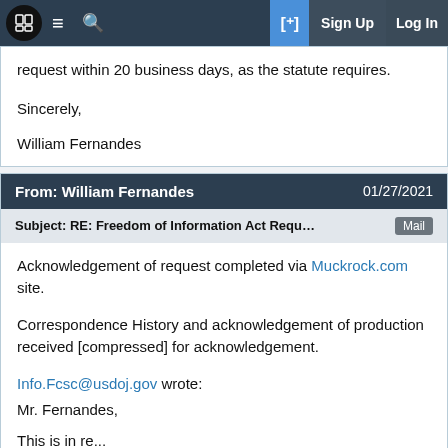MuckRock navigation bar with Sign Up and Log In
request within 20 business days, as the statute requires.
Sincerely,
William Fernandes
From: William Fernandes   01/27/2021
Subject: RE: Freedom of Information Act Request: Redress of i...   Mail
Acknowledgement of request completed via Muckrock.com site.
Correspondence History and acknowledgement of production received [compressed] for acknowledgement.
Info.Fcsc@usdoj.gov wrote:
Mr. Fernandes,
This is in re...